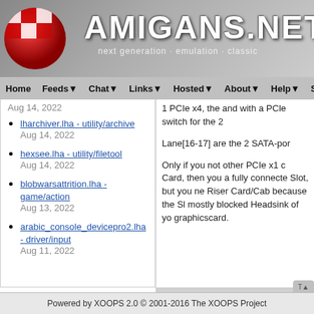[Figure (logo): Amigans.net website header with red/white checkered ball logo on left, large white text AMIGANS.NET in bold, tagline 'next generation · emulation · classic' below]
Home  Feeds  Chat  Links  Hosted  About  Help  Search
lharchiver.lha - utility/archive
Aug 14, 2022
hexsee.lha - utility/filetool
Aug 14, 2022
blobwarsattrition.lha - game/action
Aug 13, 2022
arabic_console_devicepro2.lha - driver/input
Aug 11, 2022
1 PCIe x4, the and with a PCle switch for the 2
Lane[16-17] are the 2 SATA-por
Only if you not other PCIe x1 c Card, then you a fully connecte Slot, but you ne Riser Card/Cab because the Sl mostly blocked Headsink of yo graphicscard.
Powered by XOOPS 2.0 © 2001-2016 The XOOPS Project